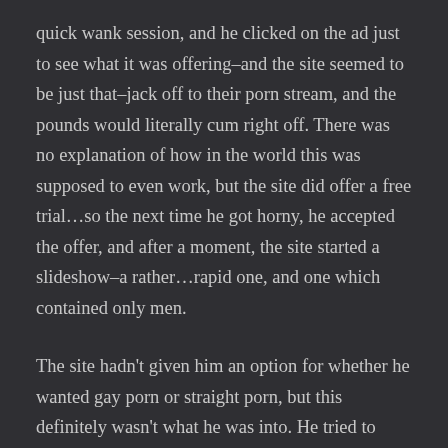quick wank session, and he clicked on the ad just to see what it was offering–and the site seemed to be just that–jack off to their porn stream, and the pounds would literally cum right off. There was no explanation of how in the world this was supposed to even work, but the site did offer a free trial…so the next time he got horny, he accepted the offer, and after a moment, the site started a slideshow–a rather…rapid one, and one which contained only men.
The site hadn't given him an option for whether he wanted gay porn or straight porn, but this definitely wasn't what he was into. He tried to close the window, but it refused, saying he hadn't finished his workout yet. He spent another minute trying to escape it, and then he found himself getting drawn into the slideshow, and